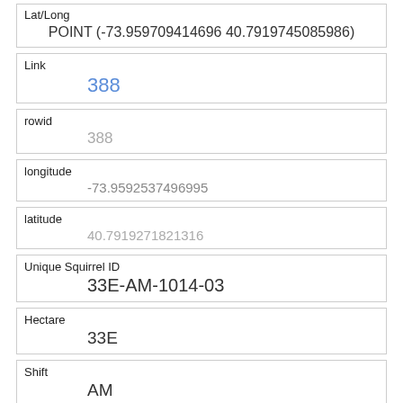| Field | Value |
| --- | --- |
| Lat/Long | POINT (-73.959709414696 40.7919745085986) |
| Link | 388 |
| rowid | 388 |
| longitude | -73.9592537496995 |
| latitude | 40.7919271821316 |
| Unique Squirrel ID | 33E-AM-1014-03 |
| Hectare | 33E |
| Shift | AM |
| Date | 10142018 |
| Hectare Squirrel Number | 3 |